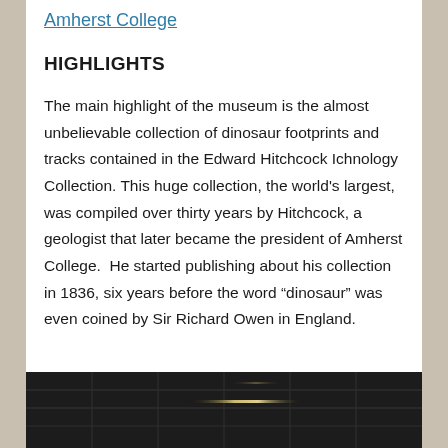Amherst College
HIGHLIGHTS
The main highlight of the museum is the almost unbelievable collection of dinosaur footprints and tracks contained in the Edward Hitchcock Ichnology Collection. This huge collection, the world's largest, was compiled over thirty years by Hitchcock, a geologist that later became the president of Amherst College.  He started publishing about his collection in 1836, six years before the word “dinosaur” was even coined by Sir Richard Owen in England.
[Figure (photo): Interior ceiling photo of a museum building, dark with ceiling grid and light streaks visible.]